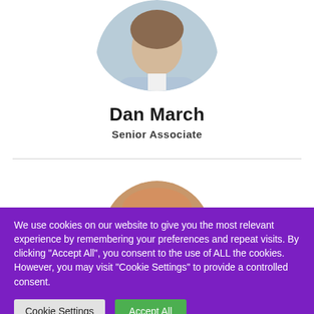[Figure (photo): Circular profile photo of Dan March, partially cropped at top]
Dan March
Senior Associate
[Figure (photo): Circular profile photo of second person, partially visible at bottom of white section, showing top of head with light brown/auburn hair]
We use cookies on our website to give you the most relevant experience by remembering your preferences and repeat visits. By clicking "Accept All", you consent to the use of ALL the cookies. However, you may visit "Cookie Settings" to provide a controlled consent.
Cookie Settings
Accept All